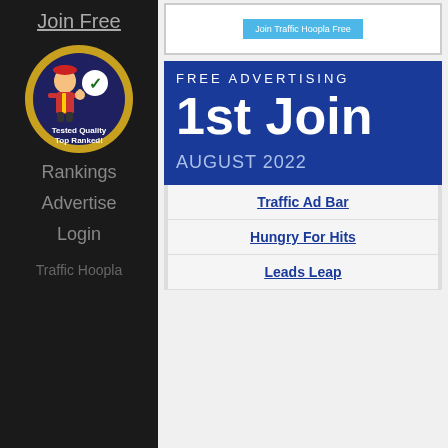Join Free
[Figure (illustration): Circular badge with blue background, gold border, cartoon mechanic figure, checkmark, text: Tested Quality Top Ranked!]
Rankings
Advertise
Login
Traffic Hoopla
[Figure (other): Button: Join Traffic Hoopla Free]
[Figure (infographic): Blue banner: FREE ADVERTISING | 1st Join | AUGUST 2022]
Traffic Ad Bar
Hungry For Hits
Leads Leap